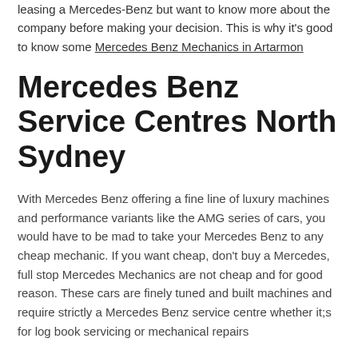leasing a Mercedes-Benz but want to know more about the company before making your decision. This is why it's good to know some Mercedes Benz Mechanics in Artarmon
Mercedes Benz Service Centres North Sydney
With Mercedes Benz offering a fine line of luxury machines and performance variants like the AMG series of cars, you would have to be mad to take your Mercedes Benz to any cheap mechanic. If you want cheap, don't buy a Mercedes, full stop Mercedes Mechanics are not cheap and for good reason. These cars are finely tuned and built machines and require strictly a Mercedes Benz service centre whether it;s for log book servicing or mechanical repairs
Lexus Mechanics Servicing North Sh...